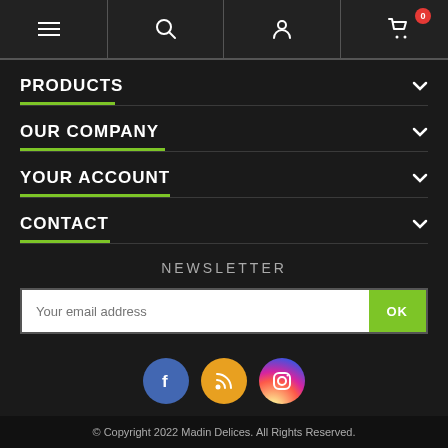Navigation bar with hamburger menu, search, user, and cart icons
PRODUCTS
OUR COMPANY
YOUR ACCOUNT
CONTACT
NEWSLETTER
Your email address
OK
[Figure (illustration): Social media icons: Facebook (blue circle), RSS (orange circle), Instagram (gradient circle)]
© Copyright 2022 Madin Delices. All Rights Reserved.